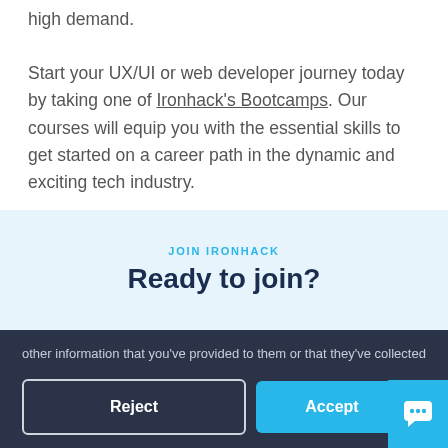high demand. Start your UX/UI or web developer journey today by taking one of Ironhack's Bootcamps. Our courses will equip you with the essential skills to get started on a career path in the dynamic and exciting tech industry.
JOIN IRONHACK
Ready to join?
other information that you've provided to them or that they've collected from your use of their services. You can check our Cookie Policy.
Learn more and customize
Reject
Accept